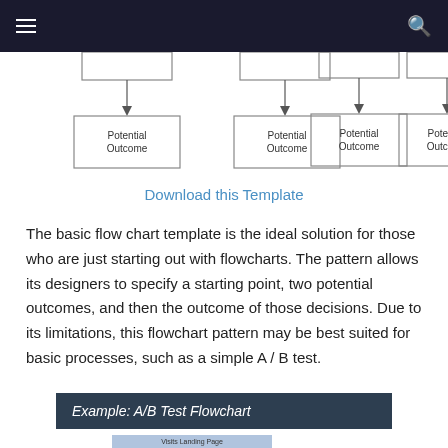navigation bar with hamburger menu and search icon
[Figure (flowchart): Partial flowchart showing four 'Potential Outcome' boxes arranged in two groups, each connected with downward arrows from boxes above (cropped at top)]
Download this Template
The basic flow chart template is the ideal solution for those who are just starting out with flowcharts. The pattern allows its designers to specify a starting point, two potential outcomes, and then the outcome of those decisions. Due to its limitations, this flowchart pattern may be best suited for basic processes, such as a simple A / B test.
Example: A/B Test Flowchart
[Figure (flowchart): Bottom portion of A/B Test Flowchart showing 'Visits Landing Page' node (partially visible)]